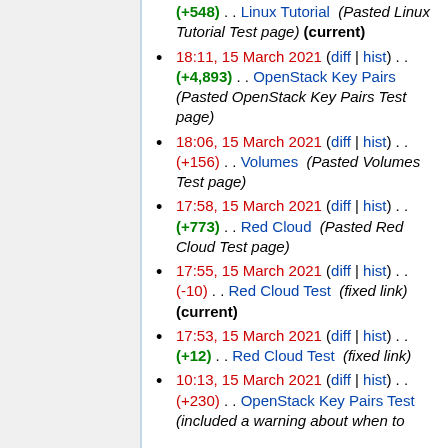(+548) . . Linux Tutorial (Pasted Linux Tutorial Test page) (current)
18:11, 15 March 2021 (diff | hist) . . (+4,893) . . OpenStack Key Pairs (Pasted OpenStack Key Pairs Test page)
18:06, 15 March 2021 (diff | hist) . . (+156) . . Volumes (Pasted Volumes Test page)
17:58, 15 March 2021 (diff | hist) . . (+773) . . Red Cloud (Pasted Red Cloud Test page)
17:55, 15 March 2021 (diff | hist) . . (-10) . . Red Cloud Test (fixed link) (current)
17:53, 15 March 2021 (diff | hist) . . (+12) . . Red Cloud Test (fixed link)
10:13, 15 March 2021 (diff | hist) . . (+230) . . OpenStack Key Pairs Test (included a warning about when to